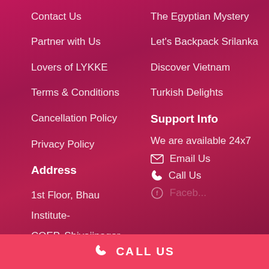Contact Us
Partner with Us
Lovers of LYKKE
Terms & Conditions
Cancellation Policy
Privacy Policy
The Egyptian Mystery
Let's Backpack Srilanka
Discover Vietnam
Turkish Delights
Address
1st Floor, Bhau Institute- COEP, Shivajinagar, Pune, Maharashtra 411005
Support Info
We are available 24x7
Email Us
Call Us
CALL US